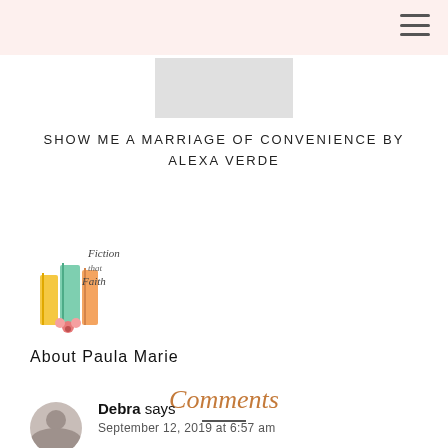[Figure (illustration): Book cover image placeholder — gray rectangle]
SHOW ME A MARRIAGE OF CONVENIENCE BY ALEXA VERDE
[Figure (logo): Fiction That Faith logo — illustrated books with cursive text]
About Paula Marie
Comments
Debra says
September 12, 2019 at 6:57 am